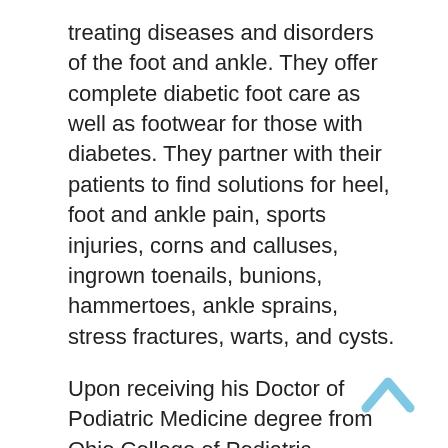treating diseases and disorders of the foot and ankle. They offer complete diabetic foot care as well as footwear for those with diabetes. They partner with their patients to find solutions for heel, foot and ankle pain, sports injuries, corns and calluses, ingrown toenails, bunions, hammertoes, ankle sprains, stress fractures, warts, and cysts.
Upon receiving his Doctor of Podiatric Medicine degree from Ohio College of Podiatric Medicine, Dr. Snyder went on to perform his residency at Cleveland Foot Clinic.
A Diplomate of the American Board of Podiatric Surgery, he is a member of the American Podiatric Medical Association and the Maryland Podiatric Medical Association. He is also a Fellow of the American College of Foot Surgeons (FACFS) and a Fellow of the American Society of Podiatric...